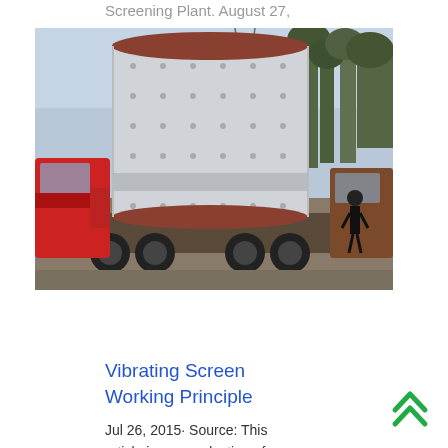Screening Plant. August 27, 2021 dwcrusherplant Comments & Comment
[Figure (photo): Large cylindrical industrial drum/ball mill loaded on a flatbed truck, with trees and a person visible in the background. Red truck cab visible on the left.]
Readmore
Vibrating Screen Working Principle
Jul 26, 2015· Source: This article is a reproduction of an excerpt of "In the Public